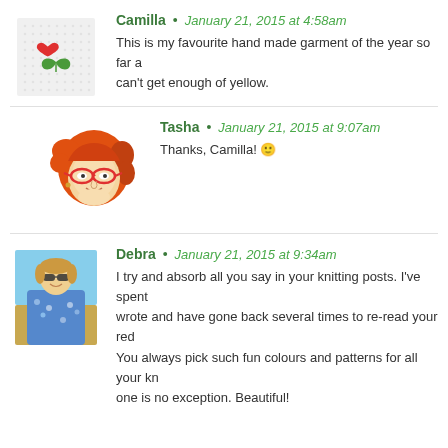Camilla • January 21, 2015 at 4:58am
This is my favourite hand made garment of the year so far a... can't get enough of yellow.
Tasha • January 21, 2015 at 9:07am
Thanks, Camilla! 🙂
Debra • January 21, 2015 at 9:34am
I try and absorb all you say in your knitting posts. I've spent... wrote and have gone back several times to re-read your red... You always pick such fun colours and patterns for all your kn... one is no exception. Beautiful!